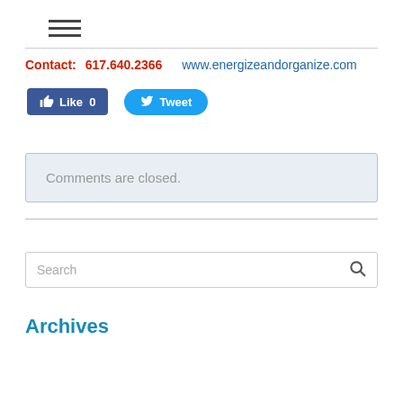[Figure (other): Hamburger menu icon with three horizontal lines]
Contact:  617.640.2366    www.energizeandorganize.com
[Figure (other): Facebook Like button (0 likes) and Twitter Tweet button]
Comments are closed.
[Figure (other): Search input box with magnifying glass icon]
Archives